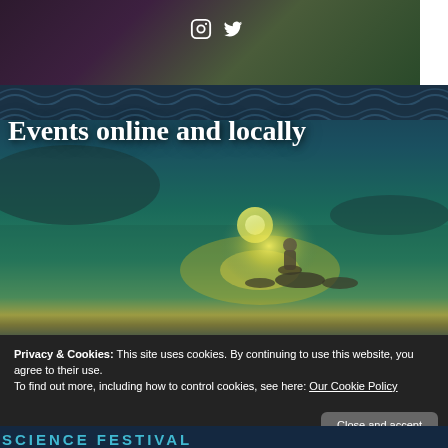[Figure (photo): Top dark banner with blurred floral/plant background showing Instagram and Twitter social icons]
[Figure (illustration): Banner image with text 'Events online and locally' over an atmospheric illustration of a child sitting by a glowing body of water at night with teal and gold tones, decorative pattern at top]
Privacy & Cookies: This site uses cookies. By continuing to use this website, you agree to their use.
To find out more, including how to control cookies, see here: Our Cookie Policy
Close and accept
[Figure (other): Bottom strip showing partial 'SCIENCE FESTIVAL' text in teal on dark blue background]